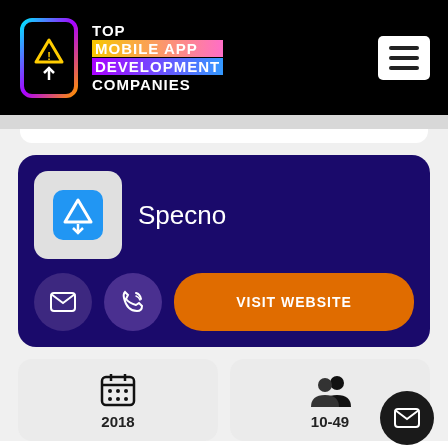[Figure (logo): Top Mobile App Development Companies logo with phone icon and colorful text on black background]
[Figure (screenshot): Company card for Specno with logo, email/call buttons and Visit Website button on dark purple background]
Specno
VISIT WEBSITE
2018
10-49